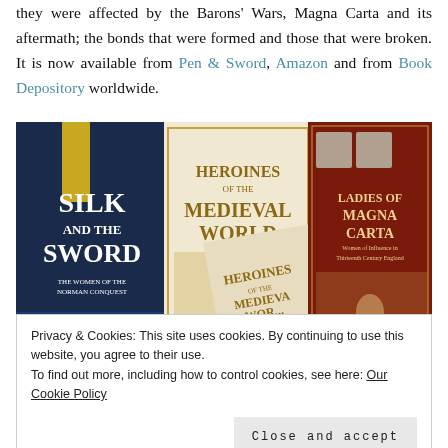they were affected by the Barons' Wars, Magna Carta and its aftermath; the bonds that were formed and those that were broken. It is now available from Pen & Sword, Amazon and from Book Depository worldwide.
[Figure (photo): Photo of three book covers: 'Silk and the Sword: The Women of the Norman Conquest', 'Heroines of the Medieval World', and 'Ladies of Magna Carta: Women of Influence in Thirteenth Century England', with a smaller copy of 'Heroines of the Medieval World' in front.]
Also by Sharon Bennett Connolly:
Privacy & Cookies: This site uses cookies. By continuing to use this website, you agree to their use.
To find out more, including how to control cookies, see here: Our Cookie Policy